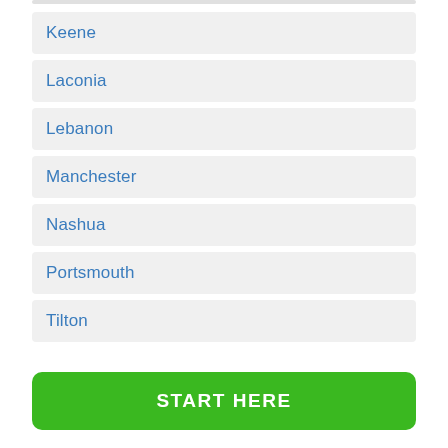Keene
Laconia
Lebanon
Manchester
Nashua
Portsmouth
Tilton
START HERE